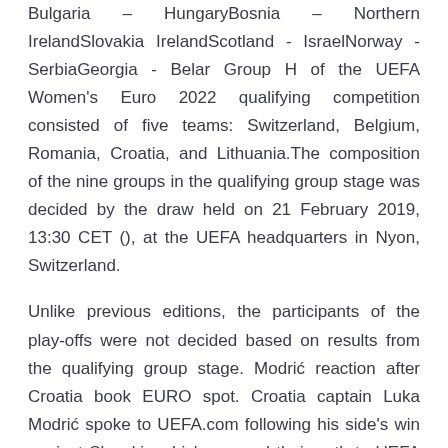Bulgaria – HungaryBosnia – Northern IrelandSlovakia IrelandScotland - IsraelNorway - SerbiaGeorgia - Belar Group H of the UEFA Women's Euro 2022 qualifying competition consisted of five teams: Switzerland, Belgium, Romania, Croatia, and Lithuania.The composition of the nine groups in the qualifying group stage was decided by the draw held on 21 February 2019, 13:30 CET (), at the UEFA headquarters in Nyon, Switzerland.
Unlike previous editions, the participants of the play-offs were not decided based on results from the qualifying group stage. Modrić reaction after Croatia book EURO spot. Croatia captain Luka Modrić spoke to UEFA.com following his side's win against Slovakia which assured their path to UEFA EURO 2020. 00:59. Live. EURO 2020: all the fixtures.